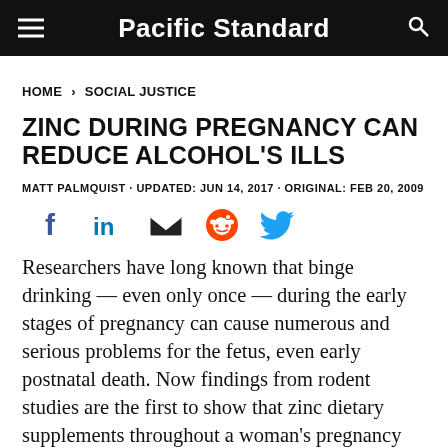Pacific Standard
HOME › SOCIAL JUSTICE
ZINC DURING PREGNANCY CAN REDUCE ALCOHOL'S ILLS
MATT PALMQUIST · UPDATED: JUN 14, 2017 · ORIGINAL: FEB 20, 2009
[Figure (other): Social share icons: Facebook, LinkedIn, Email, Reddit, Twitter]
Researchers have long known that binge drinking — even only once — during the early stages of pregnancy can cause numerous and serious problems for the fetus, even early postnatal death. Now findings from rodent studies are the first to show that zinc dietary supplements throughout a woman's pregnancy